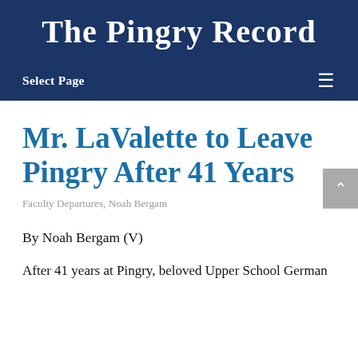The Pingry Record
Select Page
Mr. LaValette to Leave Pingry After 41 Years
Faculty Departures, Noah Bergam
By Noah Bergam (V)
After 41 years at Pingry, beloved Upper School German